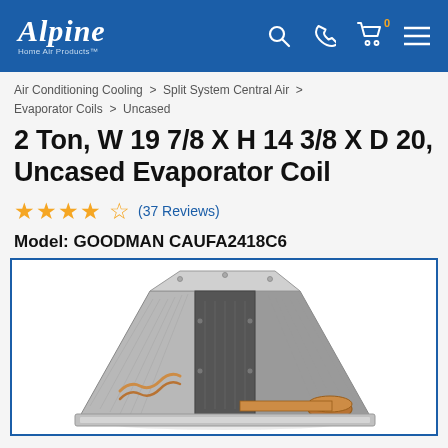Alpine Home Air Products
Air Conditioning Cooling > Split System Central Air > Evaporator Coils > Uncased
2 Ton, W 19 7/8 X H 14 3/8 X D 20, Uncased Evaporator Coil
★★★★☆ (37 Reviews)
Model: GOODMAN CAUFA2418C6
[Figure (photo): Photo of Goodman CAUFA2418C6 uncased evaporator coil, showing a silver/grey A-shaped coil unit with copper tubing visible at the bottom right]